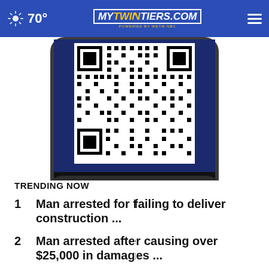70° | MYTWINTIERS.COM
[Figure (photo): Smartphone displaying a QR code on blue background, bottom portion of phone showing rounded black corners]
TRENDING NOW
1  Man arrested for failing to deliver construction ...
2  Man arrested after causing over $25,000 in damages ...